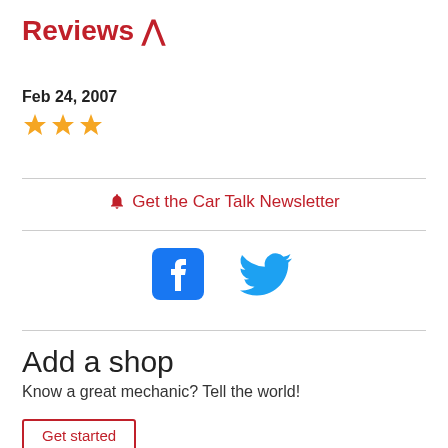Reviews ^
Feb 24, 2007
[Figure (other): Three gold star rating icons]
🔔 Get the Car Talk Newsletter
[Figure (other): Facebook and Twitter social media icons]
Add a shop
Know a great mechanic? Tell the world!
Get started